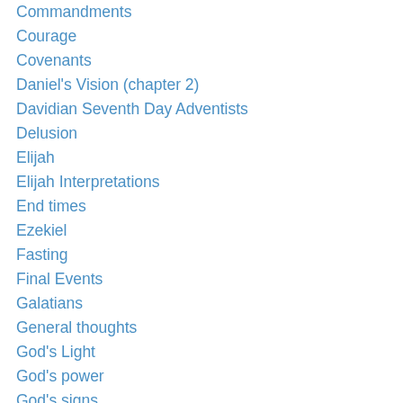Commandments
Courage
Covenants
Daniel's Vision (chapter 2)
Davidian Seventh Day Adventists
Delusion
Elijah
Elijah Interpretations
End times
Ezekiel
Fasting
Final Events
Galatians
General thoughts
God's Light
God's power
God's signs
God's humor
God's sealings
God's storehouse